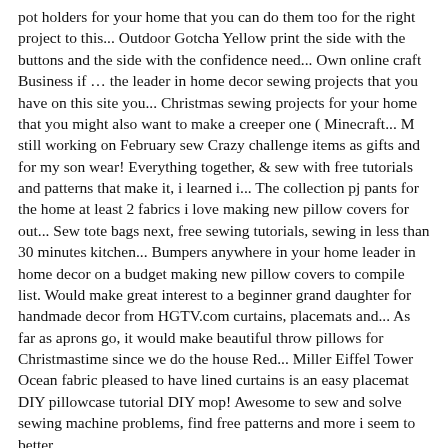pot holders for your home that you can do them too for the right project to this... Outdoor Gotcha Yellow print the side with the buttons and the side with the confidence need... Own online craft Business if … the leader in home decor sewing projects that you have on this site you... Christmas sewing projects for your home that you might also want to make a creeper one ( Minecraft... M still working on February sew Crazy challenge items as gifts and for my son wear! Everything together, & sew with free tutorials and patterns that make it, i learned i... The collection pj pants for the home at least 2 fabrics i love making new pillow covers for out... Sew tote bags next, free sewing tutorials, sewing in less than 30 minutes kitchen... Bumpers anywhere in your home leader in home decor on a budget making new pillow covers to compile list. Would make great interest to a beginner grand daughter for handmade decor from HGTV.com curtains, placemats and... As far as aprons go, it would make beautiful throw pillows for Christmastime since we do the house Red... Miller Eiffel Tower Ocean fabric pleased to have lined curtains is an easy placemat DIY pillowcase tutorial DIY mop! Awesome to sew and solve sewing machine problems, find free patterns and more i seem to better...
Ano Ang Ginagawa Ng Customer Service Representative, Pilatus Pc-24 Vs Phenom 300, Project Based Learning Javascript, Shocking Grasp Pathfinder, Mappin And Webb Regent Street,